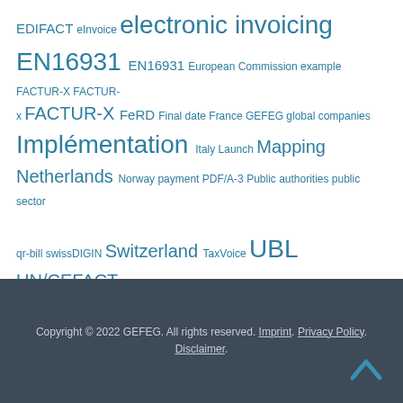[Figure (infographic): Tag cloud with electronic invoicing related terms in various sizes, all in teal/steel blue color. Terms include: EDIFACT, eInvoice, electronic invoicing, EN16931, European Commission, example, FACTUR-X, FeRD, Final date, France, GEFEG, global companies, Implémentation, Italy, Launch, Mapping, Netherlands, Norway, payment, PDF/A-3, Public authorities, public sector, qr-bill, swissDIGIN, Switzerland, TaxVoice, UBL, UN/CEFACT, User Group TaxVoice, XRechnung, ZUGFeRD 2.0, ZUGFeRD 2.1]
Copyright © 2022 GEFEG. All rights reserved. Imprint. Privacy Policy. Disclaimer.